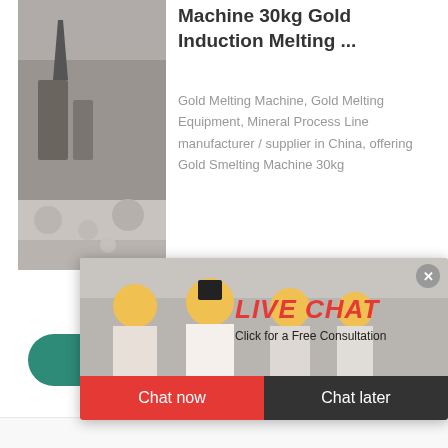Machine 30kg Gold Induction Melting ...
Gold Melting Machine, Gold Melting Equipment, Mineral Process Line manufacturer / supplier in China, offering Gold Smelting Machine 30kg
Crusher, Mineral Mix... Mixing Flocculent Ba... Leaching Agitation T...
[Figure (photo): Mining/industrial site with machinery and grey rocky material]
More
[Figure (photo): Live chat popup with workers in yellow hard hats, LIVE CHAT heading, Click for a Free Consultation, Chat now and Chat later buttons]
7 hours online
Click me to chat >>
Enquiry
superbrian707@gm